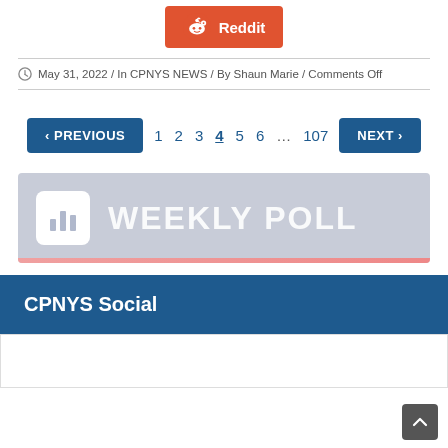[Figure (logo): Reddit share button with Reddit alien icon and 'Reddit' text on orange background]
May 31, 2022 / In CPNYS NEWS / By Shaun Marie / Comments Off
[Figure (infographic): Pagination navigation with Previous button, page numbers 1 2 3 4 5 6 ... 107, and Next button]
[Figure (illustration): Weekly Poll banner with bar chart icon and WEEKLY POLL text on grey-blue background]
CPNYS Social